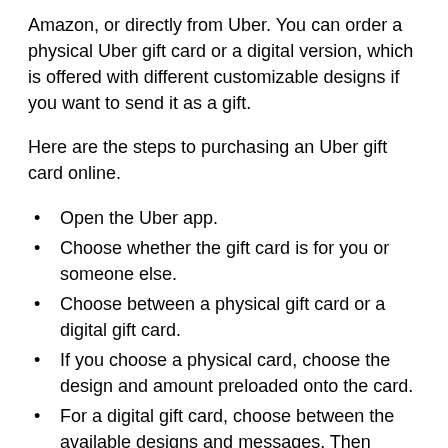Amazon, or directly from Uber. You can order a physical Uber gift card or a digital version, which is offered with different customizable designs if you want to send it as a gift.
Here are the steps to purchasing an Uber gift card online.
Open the Uber app.
Choose whether the gift card is for you or someone else.
Choose between a physical gift card or a digital gift card.
If you choose a physical card, choose the design and amount preloaded onto the card.
For a digital gift card, choose between the available designs and messages. Then choose an amount.
The default choices are $25, $100, and $200, but you can enter a custom amount.
Add a personalized message .
For digital Uber gift cards, you can choose when youd like the gift card to be sent.